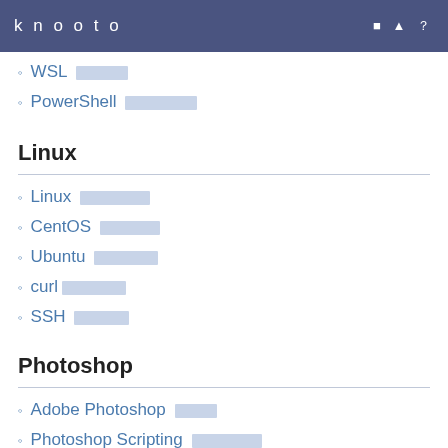knooto
WSL 入門記事
PowerShell 入門記事集
Linux
Linux 入門記事集
CentOS 入門記事集
Ubuntu 入門記事集
curl入門記事集
SSH 入門記事集
Photoshop
Adobe Photoshop 入門
Photoshop Scripting 入門記事集